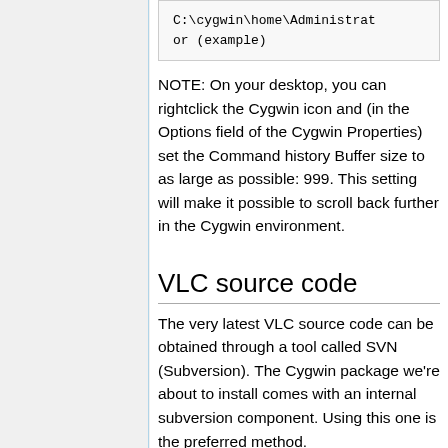C:\cygwin\home\Administrator (example)
NOTE: On your desktop, you can rightclick the Cygwin icon and (in the Options field of the Cygwin Properties) set the Command history Buffer size to as large as possible: 999. This setting will make it possible to scroll back further in the Cygwin environment.
VLC source code
The very latest VLC source code can be obtained through a tool called SVN (Subversion). The Cygwin package we're about to install comes with an internal subversion component. Using this one is the preferred method.